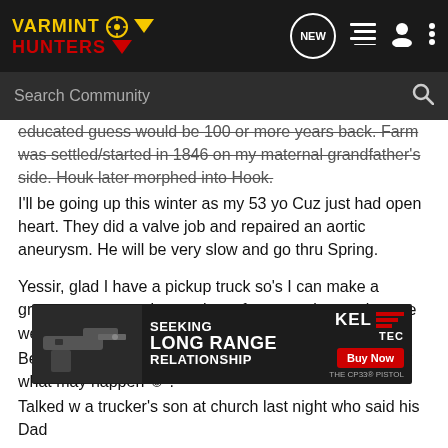VARMINT HUNTERS - navigation header with search bar
educated guess would be 100 or more years back. Farm was settled/started in 1846 on my maternal grandfather's side. Houk later morphed into Hook.
I'll be going up this winter as my 53 yo Cuz just had open heart. They did a valve job and repaired an aortic aneurysm. He will be very slow and go thru Spring.
Yessir, glad I have a pickup truck so's I can make a grocery run to stock up to keep from starving out in case we get four or five inches of partly cloudy.
Being halfway tween Doug/Shane and KF, I never know what may happen ☺ .
Talked w a trucker's son at church last night who said his Dad saw the [ad overlay] didn't make it
Time to [cut off] tta the
[Figure (screenshot): Kel-Tec CP33 pistol advertisement overlay: 'SEEKING LONG RANGE RELATIONSHIP - THE CP33 PISTOL - Buy Now' with gun image]